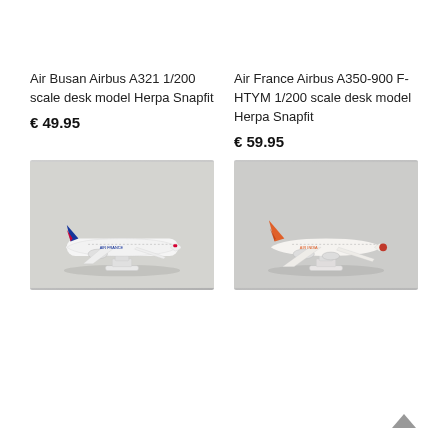Air Busan Airbus A321 1/200 scale desk model Herpa Snapfit
€ 49.95
Air France Airbus A350-900 F-HTYM 1/200 scale desk model Herpa Snapfit
€ 59.95
[Figure (photo): Air France Airbus scale model aircraft on white display stand, white fuselage with blue/red tail livery]
[Figure (photo): Air India Airbus scale model aircraft on white display stand, white fuselage with orange/red tail livery]